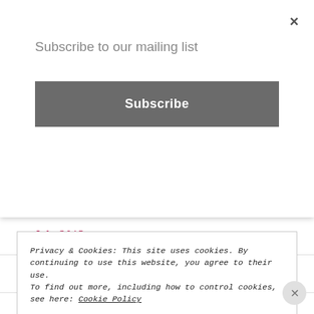Subscribe to our mailing list
Subscribe
July 2013
June 2013
May 2013
Privacy & Cookies: This site uses cookies. By continuing to use this website, you agree to their use.
To find out more, including how to control cookies, see here: Cookie Policy
Close and accept